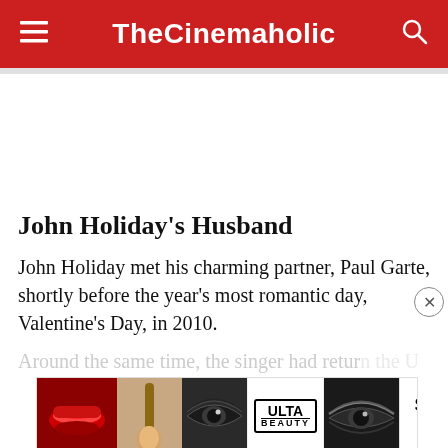TheCinemaholic
John Holiday's Husband
John Holiday met his charming partner, Paul Garte, shortly before the year's most romantic day, Valentine's Day, in 2010.
Around the same time, the singer had retur... the U... Conservatory of Music. Paul, a survivor for
[Figure (advertisement): Ulta Beauty advertisement banner with makeup imagery and SHOP NOW call to action]